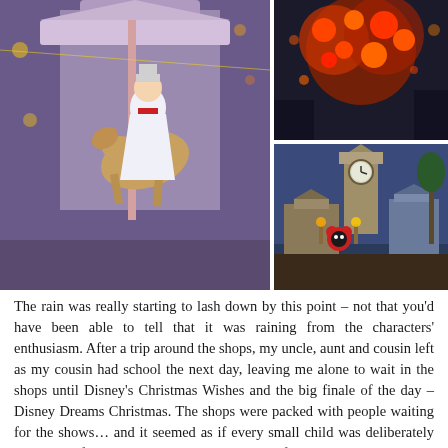[Figure (photo): Photo collage of three Disney park images: left image shows Mary Poppins character on a carousel horse in white dress with red sash; top right shows colorful illuminated tree/decoration with red and orange lights; bottom right shows a Peter Pan themed float or scene with Big Ben clock tower at dusk with Mickey Mouse character in red outfit.]
The rain was really starting to lash down by this point – not that you'd have been able to tell that it was raining from the characters' enthusiasm. After a trip around the shops, my uncle, aunt and cousin left as my cousin had school the next day, leaving me alone to wait in the shops until Disney's Christmas Wishes and the big finale of the day – Disney Dreams Christmas. The shops were packed with people waiting for the shows… and it seemed as if every small child was deliberately going out of their way to touch the hundreds of glass